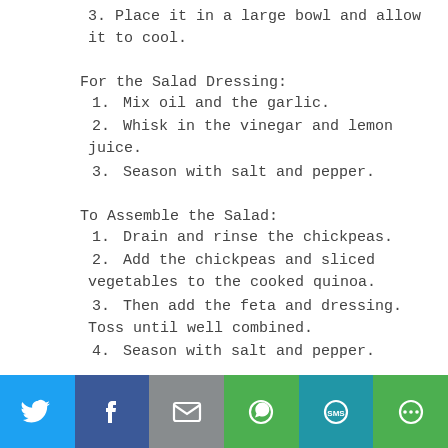3. Place it in a large bowl and allow it to cool.
For the Salad Dressing:
1. Mix oil and the garlic.
2. Whisk in the vinegar and lemon juice.
3. Season with salt and pepper.
To Assemble the Salad:
1. Drain and rinse the chickpeas.
2. Add the chickpeas and sliced vegetables to the cooked quinoa.
3. Then add the feta and dressing. Toss until well combined.
4. Season with salt and pepper.
[Figure (infographic): Social sharing bar with Twitter, Facebook, Email, WhatsApp, SMS, and More buttons]